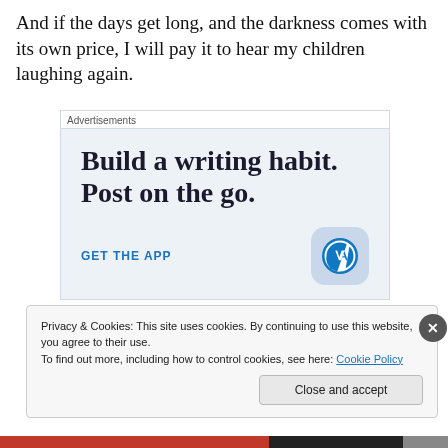And if the days get long, and the darkness comes with its own price, I will pay it to hear my children laughing again.
[Figure (other): Advertisement banner with light blue background. Headline: 'Build a writing habit. Post on the go.' Call to action: 'GET THE APP' with WordPress logo icon on the right.]
Privacy & Cookies: This site uses cookies. By continuing to use this website, you agree to their use.
To find out more, including how to control cookies, see here: Cookie Policy